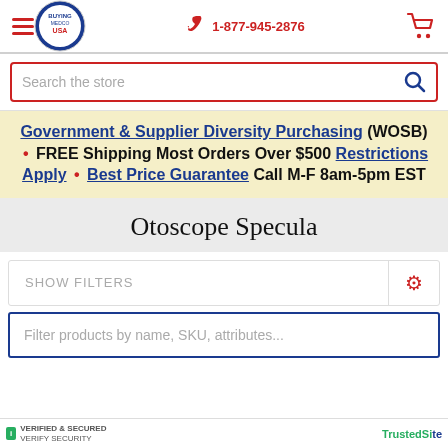[Figure (screenshot): Website header with hamburger menu, circular USA logo, phone number 1-877-945-2876, and shopping cart icon]
Search the store
Government & Supplier Diversity Purchasing (WOSB) • FREE Shipping Most Orders Over $500 Restrictions Apply • Best Price Guarantee Call M-F 8am-5pm EST
Otoscope Specula
SHOW FILTERS
Filter products by name, SKU, attributes...
VERIFIED & SECURED VERIFY SECURITY | TrustedSite